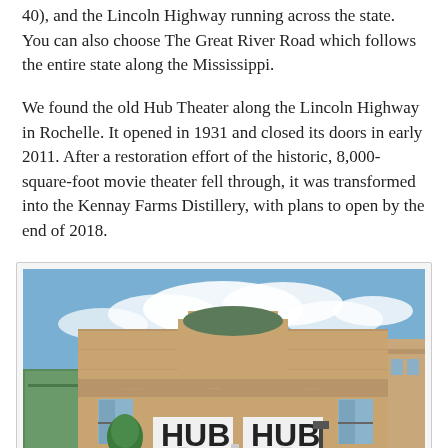40), and the Lincoln Highway running across the state. You can also choose The Great River Road which follows the entire state along the Mississippi.
We found the old Hub Theater along the Lincoln Highway in Rochelle. It opened in 1931 and closed its doors in early 2011. After a restoration effort of the historic, 8,000-square-foot movie theater fell through, it was transformed into the Kennay Farms Distillery, with plans to open by the end of 2018.
[Figure (photo): Exterior photograph of the Hub Theater in Rochelle, Illinois — a tan brick Art Deco building with two illuminated 'HUB' signs on the facade, a red marquee, and neighboring storefronts including a yellow 'Softy's' shop on the left and a red-and-white striped awning on the right. Blue sky with clouds in the background.]